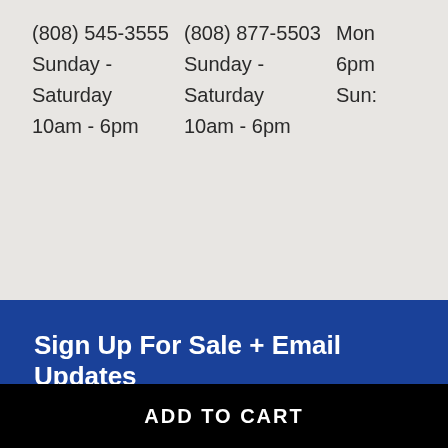(808) 545-3555
Sunday - Saturday
10am - 6pm
(808) 877-5503
Sunday - Saturday
10am - 6pm
Mon
6pm
Sun:
Sign Up For Sale + Email Updates
Enter Your Email
Submit
Let's Keep In Touch
[Figure (logo): Facebook and Instagram social media icons in white outline style on blue background]
ADD TO CART